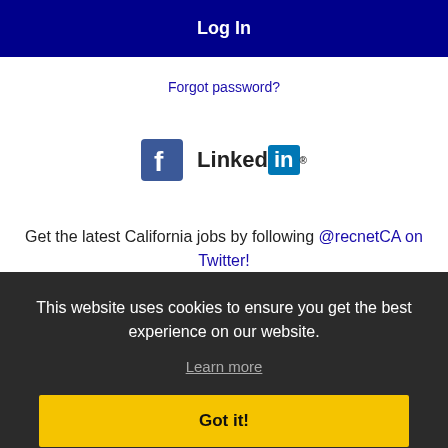Log In
Forgot password?
[Figure (logo): Facebook icon and LinkedIn logo side by side]
Get the latest California jobs by following @recnetCA on Twitter!
Union City RSS job feeds
This website uses cookies to ensure you get the best experience on our website.
Learn more
Got it!
JOB SEEKERS
Search Union City jobs